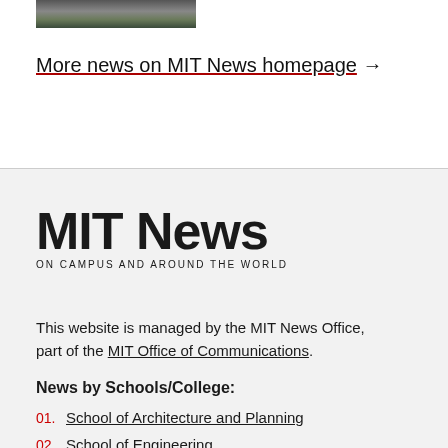[Figure (photo): Partial photo strip showing people, cropped at top of page]
More news on MIT News homepage →
MIT News ON CAMPUS AND AROUND THE WORLD
This website is managed by the MIT News Office, part of the MIT Office of Communications.
News by Schools/College:
01. School of Architecture and Planning
02. School of Engineering
03. School of Humanities, Arts, and Social Sciences